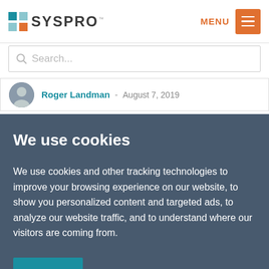[Figure (logo): SYSPRO logo with blue/teal square icon and grey text]
MENU
Search...
Roger Landman - August 7, 2019
We use cookies
We use cookies and other tracking technologies to improve your browsing experience on our website, to show you personalized content and targeted ads, to analyze our website traffic, and to understand where our visitors are coming from.
OK